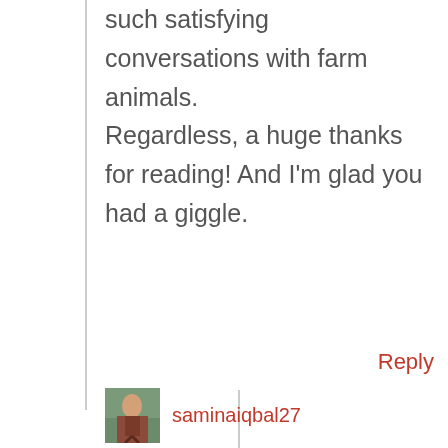such satisfying conversations with farm animals. Regardless, a huge thanks for reading! And I'm glad you had a giggle. 😉
Reply
[Figure (photo): Small avatar thumbnail of user saminaiqbal27, showing a person outdoors]
saminaiqbal27